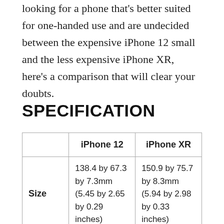looking for a phone that's better suited for one-handed use and are undecided between the expensive iPhone 12 small and the less expensive iPhone XR, here's a comparison that will clear your doubts.
SPECIFICATION
|  | iPhone 12 | iPhone XR |
| --- | --- | --- |
| Size | 138.4 by 67.3 by 7.3mm (5.45 by 2.65 by 0.29 inches) | 150.9 by 75.7 by 8.3mm (5.94 by 2.98 by 0.33 inches) |
| Weight | 164g | 194g |
| Screen Size | ... | ... |